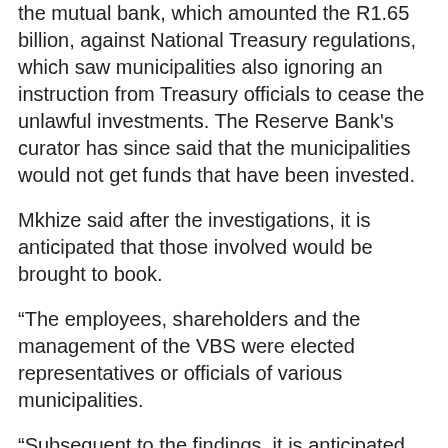the mutual bank, which amounted the R1.65 billion, against National Treasury regulations, which saw municipalities also ignoring an instruction from Treasury officials to cease the unlawful investments. The Reserve Bank's curator has since said that the municipalities would not get funds that have been invested.
Mkhize said after the investigations, it is anticipated that those involved would be brought to book.
“The employees, shareholders and the management of the VBS were elected representatives or officials of various municipalities.
“Subsequent to the findings, it is anticipated that the culprits will be charged and taken to court.
“It is also expected that the investigation will reveal the true situation regarding the disappearance of the amounts of public funds as well as the savings of individuals and funerals and burial services who had invested funds with the mutual bank,” he said.